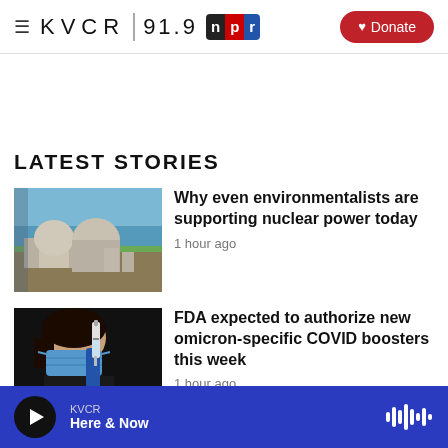KVCR 91.9 NPR | Donate
LATEST STORIES
[Figure (photo): Nuclear power plant with dome-shaped reactors near the ocean]
Why even environmentalists are supporting nuclear power today
1 hour ago
[Figure (photo): Person wearing a face mask holding a COVID vaccine syringe with blue gloves]
FDA expected to authorize new omicron-specific COVID boosters this week
1 hour ago
KVCR Here & Now